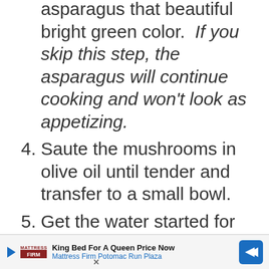asparagus that beautiful bright green color. If you skip this step, the asparagus will continue cooking and won't look as appetizing.
4. Saute the mushrooms in olive oil until tender and transfer to a small bowl.
5. Get the water started for the pasta, so it's
[Figure (other): Advertisement banner: Mattress Firm — King Bed For A Queen Price Now, Mattress Firm Potomac Run Plaza]